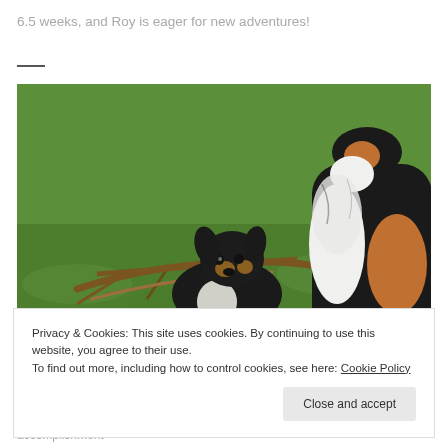6.5 weeks, and Roy is eager for new adventures!
[Figure (photo): A small black-and-tan puppy holding a stick/branch in its mouth on green grass, with a larger tri-color Sheltie standing to the right, partially visible.]
Privacy & Cookies: This site uses cookies. By continuing to use this website, you agree to their use.
To find out more, including how to control cookies, see here: Cookie Policy
accomplishment